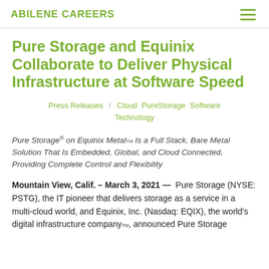ABILENE CAREERS
Pure Storage and Equinix Collaborate to Deliver Physical Infrastructure at Software Speed
Press Releases / Cloud PureStorage Software Technology
Pure Storage® on Equinix Metal™ Is a Full Stack, Bare Metal Solution That Is Embedded, Global, and Cloud Connected, Providing Complete Control and Flexibility
Mountain View, Calif. – March 3, 2021 — Pure Storage (NYSE: PSTG), the IT pioneer that delivers storage as a service in a multi-cloud world, and Equinix, Inc. (Nasdaq: EQIX), the world's digital infrastructure company™, announced Pure Storage